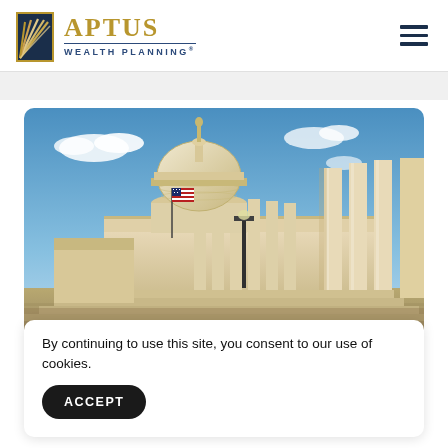[Figure (logo): Aptus Wealth Planning logo with gold bookmark icon and navy text]
[Figure (photo): Photograph of the United States Capitol building with dome, columns, American flag, and blue sky with clouds]
By continuing to use this site, you consent to our use of cookies.
ACCEPT